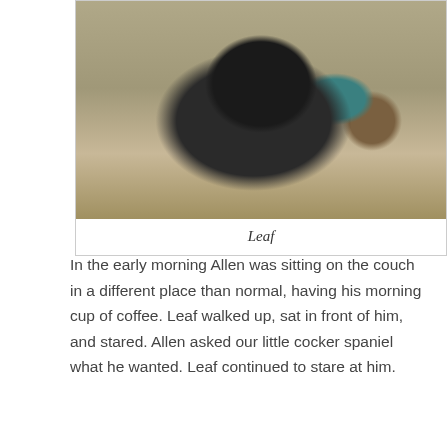[Figure (photo): A black cocker spaniel dog named Leaf sitting on a beige couch cushion with a teal pillow and a striped pillow in the background. The dog is looking directly at the camera.]
Leaf
In the early morning Allen was sitting on the couch in a different place than normal, having his morning cup of coffee. Leaf walked up, sat in front of him, and stared. Allen asked our little cocker spaniel what he wanted. Leaf continued to stare at him.